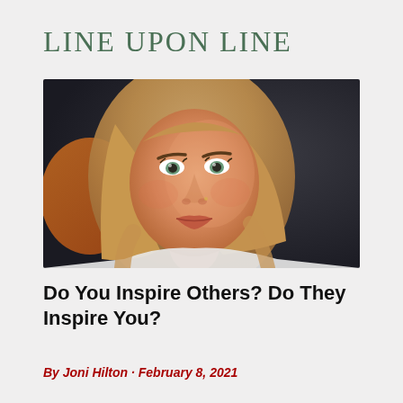LINE UPON LINE
[Figure (photo): Close-up portrait of a young blonde woman with shoulder-length hair, looking upward slightly and smiling softly. Warm golden lighting on her face; dark blurred background with an orange element behind her left side.]
Do You Inspire Others? Do They Inspire You?
By Joni Hilton · February 8, 2021